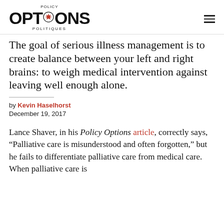POLICY OPTIONS POLITIQUES
The goal of serious illness management is to create balance between your left and right brains: to weigh medical intervention against leaving well enough alone.
by Kevin Haselhorst
December 19, 2017
Lance Shaver, in his Policy Options article, correctly says, “Palliative care is misunderstood and often forgotten,” but he fails to differentiate palliative care from medical care. When palliative care is